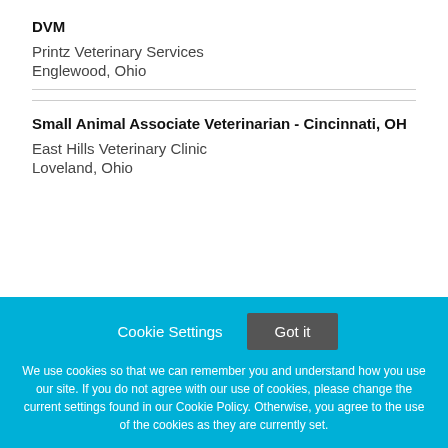DVM
Printz Veterinary Services
Englewood, Ohio
Small Animal Associate Veterinarian - Cincinnati, OH
East Hills Veterinary Clinic
Loveland, Ohio
Cookie Settings  Got it
We use cookies so that we can remember you and understand how you use our site. If you do not agree with our use of cookies, please change the current settings found in our Cookie Policy. Otherwise, you agree to the use of the cookies as they are currently set.